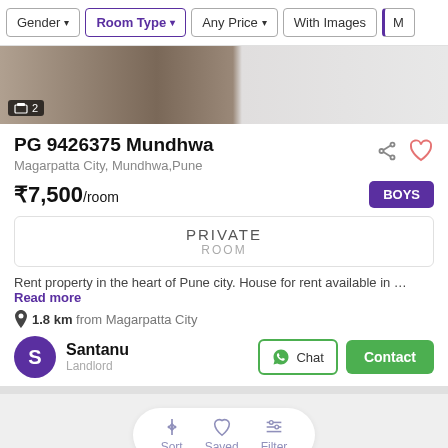Gender | Room Type | Any Price | With Images | M…
[Figure (photo): Blurred interior/room photo with image count badge showing 2]
PG 9426375 Mundhwa
Magarpatta City, Mundhwa,Pune
₹7,500/room
BOYS
PRIVATE ROOM
Rent property in the heart of Pune city. House for rent available in … Read more
1.8 km from Magarpatta City
Santanu
Landlord
Chat  Contact
Sort  Saved  Filter